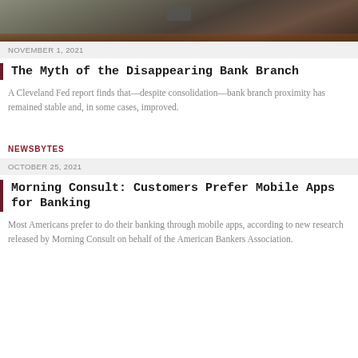[Figure (photo): Partial photo of a wooden table or desk with marble or stone surface, cropped at top of page]
NOVEMBER 1, 2021
The Myth of the Disappearing Bank Branch
A Cleveland Fed report finds that—despite consolidation—bank branch proximity has remained stable and, in some cases, improved.
NEWSBYTES
OCTOBER 25, 2021
Morning Consult: Customers Prefer Mobile Apps for Banking
Most Americans prefer to do their banking through mobile apps, according to new research released by Morning Consult on behalf of the American Bankers Association.